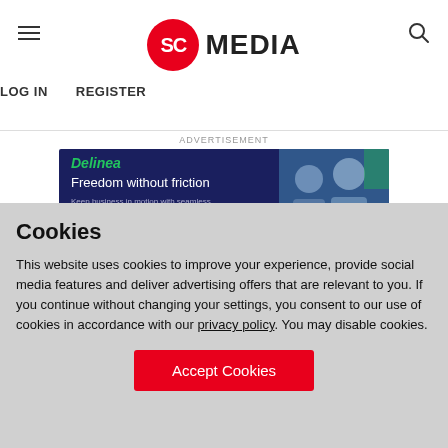SC MEDIA — LOG IN  REGISTER
[Figure (other): Delinea advertisement banner: 'Freedom without friction – Keep business in motion with seamless privileged access management. LEARN MORE']
Women to watch, Leadership
Cookies
This website uses cookies to improve your experience, provide social media features and deliver advertising offers that are relevant to you. If you continue without changing your settings, you consent to our use of cookies in accordance with our privacy policy. You may disable cookies.
Accept Cookies